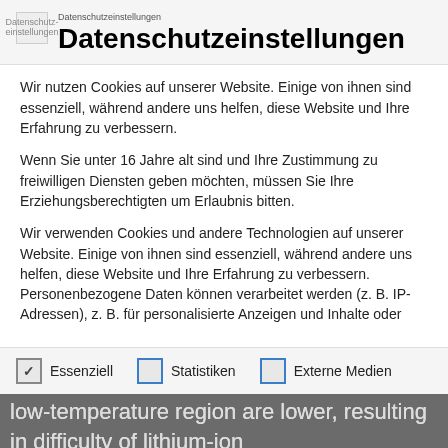[Figure (screenshot): Small broken image icon with text 'Datenschutzeinstellungen' below it in small font]
Datenschutzeinstellungen
Wir nutzen Cookies auf unserer Website. Einige von ihnen sind essenziell, während andere uns helfen, diese Website und Ihre Erfahrung zu verbessern.
Wenn Sie unter 16 Jahre alt sind und Ihre Zustimmung zu freiwilligen Diensten geben möchten, müssen Sie Ihre Erziehungsberechtigten um Erlaubnis bitten.
Wir verwenden Cookies und andere Technologien auf unserer Website. Einige von ihnen sind essenziell, während andere uns helfen, diese Website und Ihre Erfahrung zu verbessern. Personenbezogene Daten können verarbeitet werden (z. B. IP-Adressen), z. B. für personalisierte Anzeigen und Inhalte oder
✓ Essenziell
☐ Statistiken
☐ Externe Medien
sensitive to temperature distributions. The diffusion and conduction coefficients in the low-temperature region are lower, resulting in difficulty of lithium-ion